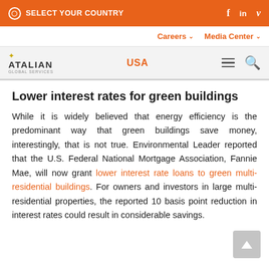SELECT YOUR COUNTRY
Careers   Media Center
ATALIAN GLOBAL SERVICES  USA
Lower interest rates for green buildings
While it is widely believed that energy efficiency is the predominant way that green buildings save money, interestingly, that is not true. Environmental Leader reported that the U.S. Federal National Mortgage Association, Fannie Mae, will now grant lower interest rate loans to green multi-residential buildings. For owners and investors in large multi-residential properties, the reported 10 basis point reduction in interest rates could result in considerable savings.